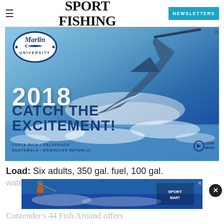SPORT FISHING
[Figure (illustration): Marlin University 2018 advertisement featuring a blue marlin leaping from ocean water. Text reads: 2018 CATCH THE EXCITEMENT! Costa Rica • Galapagos, Guatemala • Dominican Republic. Learn More button.]
Load: Six adults, 350 gal. fuel, 100 gal.
water
[Figure (photo): Second advertisement showing person fishing, Sport Mart branding visible.]
Contender's 44 Fish Around offers